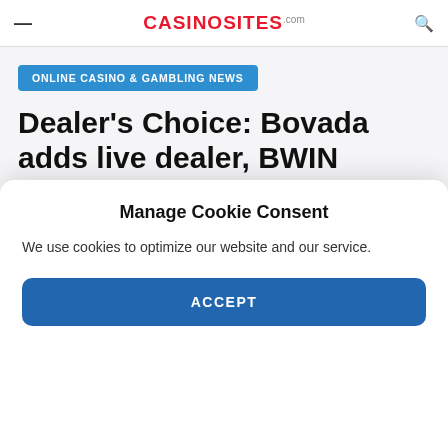casinositez.com
ONLINE CASINO & GAMBLING NEWS
Dealer's Choice: Bovada adds live dealer, BWIN bonus update
BY RM-ADMIN - MARCH 9, 2018 - IN ONLINE CASINO & GAMBLING NEWS
Manage Cookie Consent
We use cookies to optimize our website and our service.
ACCEPT